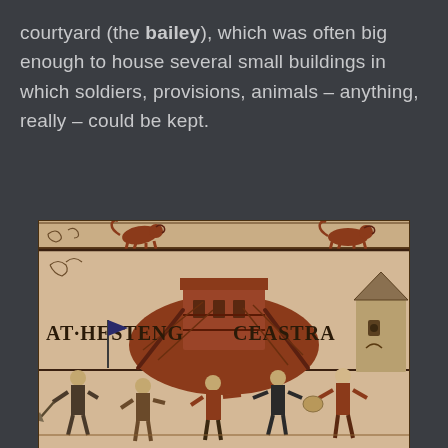courtyard (the bailey), which was often big enough to house several small buildings in which soldiers, provisions, animals – anything, really – could be kept.
[Figure (photo): A section of the Bayeux Tapestry showing medieval figures constructing or working around a motte-and-bailey castle structure. The Latin text 'AT HESTENG CEASTRA' is visible across the middle of the tapestry. Decorative animal figures appear in the border at the top, and armed soldiers/workers are depicted in the lower portion.]